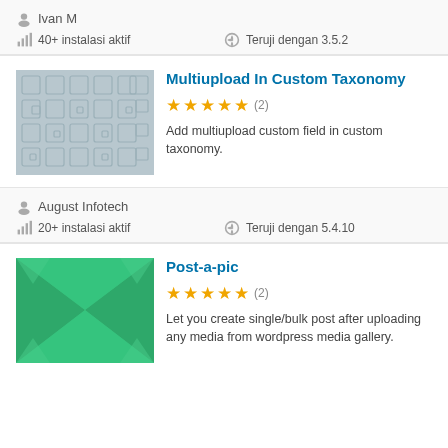Ivan M
40+ instalasi aktif
Teruji dengan 3.5.2
Multiupload In Custom Taxonomy
[Figure (other): Plugin thumbnail: gray squares pattern placeholder image]
★★★★★ (2)
Add multiupload custom field in custom taxonomy.
August Infotech
20+ instalasi aktif
Teruji dengan 5.4.10
Post-a-pic
[Figure (other): Plugin thumbnail: green geometric/diamond pattern]
★★★★★ (2)
Let you create single/bulk post after uploading any media from wordpress media gallery.